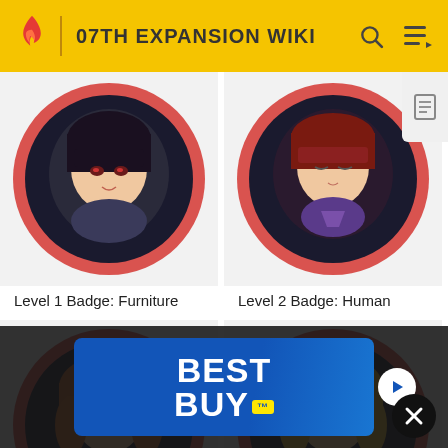07TH EXPANSION WIKI
[Figure (illustration): Level 1 Badge showing anime character with dark hair in a circular pink-rimmed frame]
Level 1 Badge: Furniture
[Figure (illustration): Level 2 Badge showing anime character with red hair and eyes closed in a circular pink-rimmed frame]
Level 2 Badge: Human
[Figure (illustration): Level 3 Badge showing anime character with orange-brown hair in a circular pink-rimmed frame]
[Figure (illustration): Level 4 Badge showing anime character with blonde hair in a circular pink-rimmed frame]
[Figure (screenshot): Best Buy advertisement banner overlay at bottom of page]